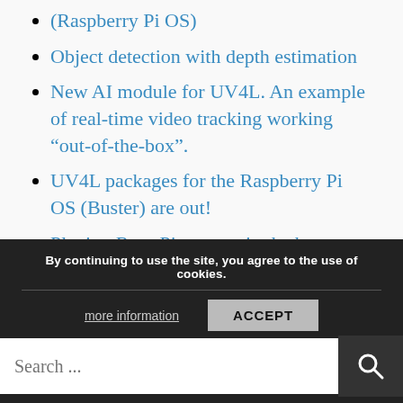(Raspberry Pi OS)
Object detection with depth estimation
New AI module for UV4L. An example of real-time video tracking working “out-of-the-box”.
UV4L packages for the Raspberry Pi OS (Buster) are out!
Playing RetroPie games in the browser
RECENT COMMENTS
By continuing to use the site, you agree to the use of cookies.
more information
ACCEPT
Search ...